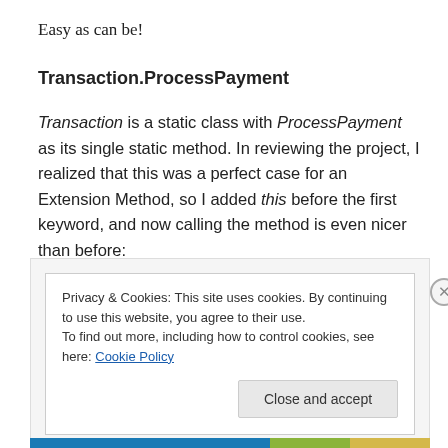Easy as can be!
Transaction.ProcessPayment
Transaction is a static class with ProcessPayment as its single static method. In reviewing the project, I realized that this was a perfect case for an Extension Method, so I added this before the first keyword, and now calling the method is even nicer than before:
Privacy & Cookies: This site uses cookies. By continuing to use this website, you agree to their use.
To find out more, including how to control cookies, see here: Cookie Policy
Close and accept